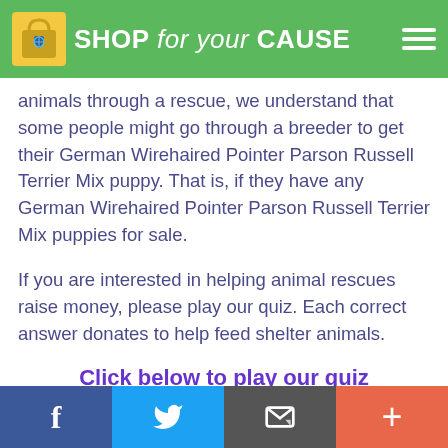SHOP for your CAUSE
animals through a rescue, we understand that some people might go through a breeder to get their German Wirehaired Pointer Parson Russell Terrier Mix puppy. That is, if they have any German Wirehaired Pointer Parson Russell Terrier Mix puppies for sale.
If you are interested in helping animal rescues raise money, please play our quiz. Each correct answer donates to help feed shelter animals.
Click below to play our quiz